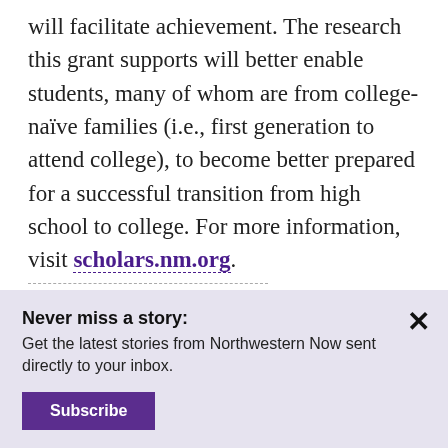will facilitate achievement. The research this grant supports will better enable students, many of whom are from college-naïve families (i.e., first generation to attend college), to become better prepared for a successful transition from high school to college. For more information, visit scholars.nm.org.
Never miss a story: Get the latest stories from Northwestern Now sent directly to your inbox.
Subscribe